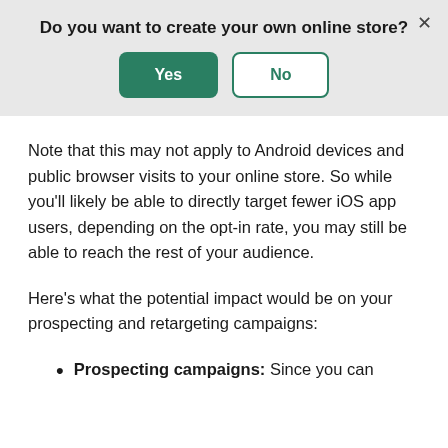Do you want to create your own online store?
Note that this may not apply to Android devices and public browser visits to your online store. So while you'll likely be able to directly target fewer iOS app users, depending on the opt-in rate, you may still be able to reach the rest of your audience.
Here's what the potential impact would be on your prospecting and retargeting campaigns:
Prospecting campaigns: Since you can